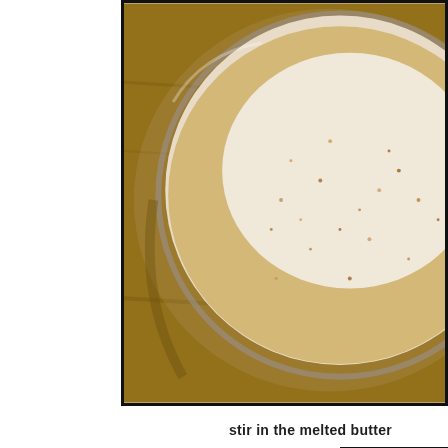[Figure (photo): Close-up overhead view of a glass bowl containing graham cracker crumbs mixed with sugar, sitting on a wooden surface]
stir in the melted butter
[Figure (photo): A glass measuring cup or bowl with melted butter being poured into a mixing bowl with graham cracker crumbs, on a dark surface]